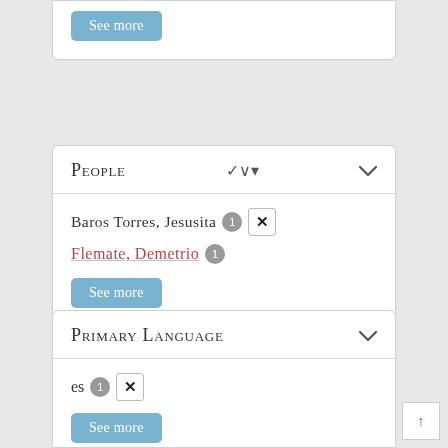See more
People
Baros Torres, Jesusita 1 ✕
Flemate, Demetrio 1
See more
Primary Language
es 1 ✕
See more